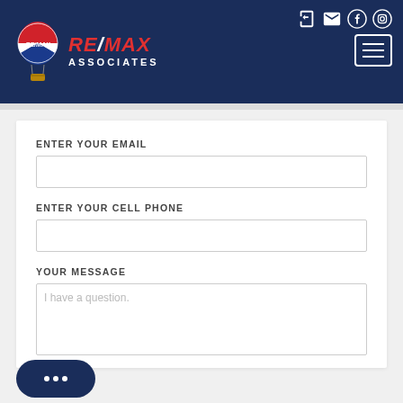[Figure (logo): RE/MAX Associates logo with hot air balloon and text]
ENTER YOUR EMAIL
ENTER YOUR CELL PHONE
YOUR MESSAGE
I have a question.